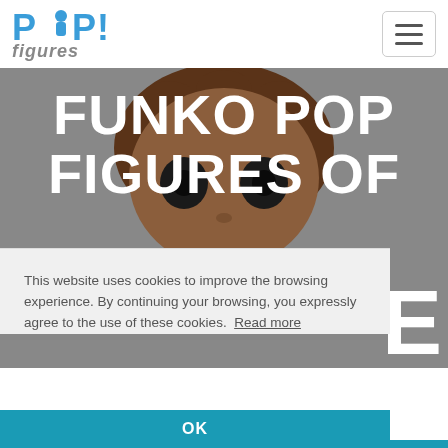POP! figures
[Figure (screenshot): Funko Pop figure face visible in hero background with grey/brown tones, large head with dark eyes]
FUNKO POP FIGURES OF
This website uses cookies to improve the browsing experience. By continuing your browsing, you expressly agree to the use of these cookies.  Read more
OK